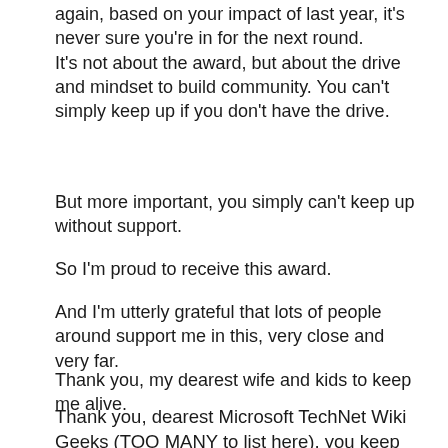again, based on your impact of last year, it's never sure you're in for the next round.
It's not about the award, but about the drive and mindset to build community. You can't simply keep up if you don't have the drive.
But more important, you simply can't keep up without support.
So I'm proud to receive this award.
And I'm utterly grateful that lots of people around support me in this, very close and very far.
Thank you, my dearest wife and kids to keep me alive.
Thank you, dearest Microsoft TechNet Wiki Geeks (TOO MANY to list here), you keep me going.
Thank you, Ed Price, the greatest Wiki Wizz Kid.